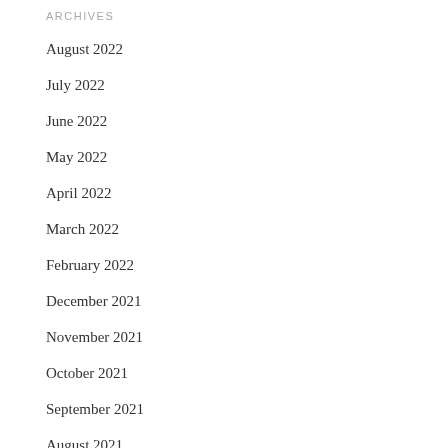ARCHIVES
August 2022
July 2022
June 2022
May 2022
April 2022
March 2022
February 2022
December 2021
November 2021
October 2021
September 2021
August 2021
July 2021